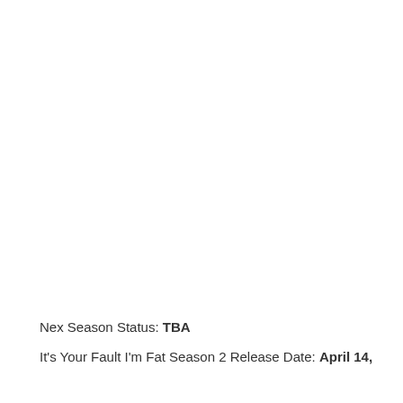Nex Season Status: TBA
It's Your Fault I'm Fat Season 2 Release Date: April 14,